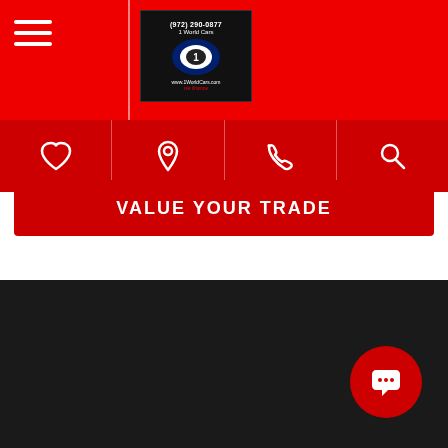[Figure (screenshot): Red top navigation bar with hamburger menu, vertical divider, and 1 World Cars logo box showing phone number (972) 290-0877 and website www.1WorldCars.com]
[Figure (screenshot): Red icon navigation strip with four icons: heart (favorites), location pin, phone, and search]
VALUE YOUR TRADE
CONTACT US
[Figure (logo): 1 World Cars logo in dark box showing phone (972) 290-0877, 1 World Cars text, globe/car icon, www.1WorldCars.com, we finance]
11553 Chairman Dr, Dallas, TX 75243